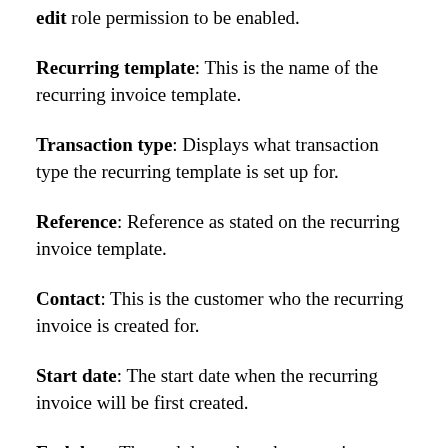edit role permission to be enabled.
Recurring template: This is the name of the recurring invoice template.
Transaction type: Displays what transaction type the recurring template is set up for.
Reference: Reference as stated on the recurring invoice template.
Contact: This is the customer who the recurring invoice is created for.
Start date: The start date when the recurring invoice will be first created.
End date: The end date when the recurring transaction will finish. The end date will be blank if there is no end date